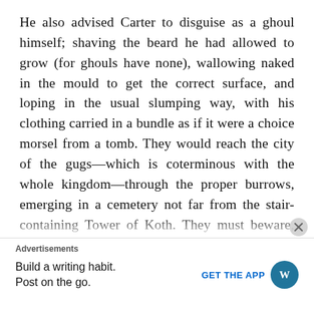He also advised Carter to disguise as a ghoul himself; shaving the beard he had allowed to grow (for ghouls have none), wallowing naked in the mould to get the correct surface, and loping in the usual slumping way, with his clothing carried in a bundle as if it were a choice morsel from a tomb. They would reach the city of the gugs—which is coterminous with the whole kingdom—through the proper burrows, emerging in a cemetery not far from the stair-containing Tower of Koth. They must beware, however, of a large cave near the cemetery; for this is the mouth of the vaults of Zin, and the vindictive ghasts are always on watch there murderously for those denizens of the upper abyss who hunt and prey on them. The ghasts try
Advertisements
Build a writing habit. Post on the go.
GET THE APP